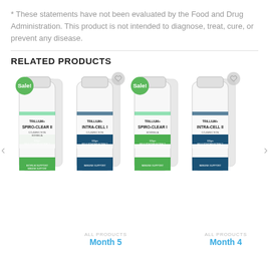* These statements have not been evaluated by the Food and Drug Administration. This product is not intended to diagnose, treat, cure, or prevent any disease.
RELATED PRODUCTS
[Figure (photo): Four supplement product bottles arranged in a row: SPIRO-CLEAR II (Sale!), INTRA-CELL I, SPIRO-CLEAR I (Sale!), INTRA-CELL II. Each bottle is white with colored labels, shown with multiple bottles stacked behind the front one.]
ALL PRODUCTS
Month 5
ALL PRODUCTS
Month 4